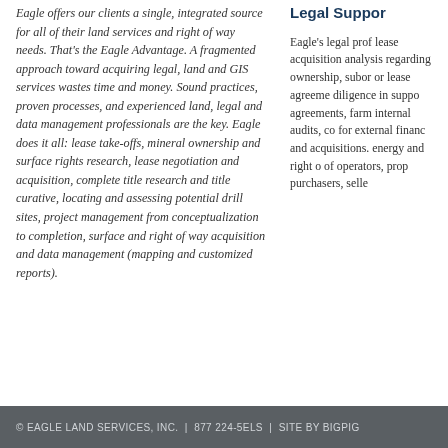Eagle offers our clients a single, integrated source for all of their land services and right of way needs. That's the Eagle Advantage. A fragmented approach toward acquiring legal, land and GIS services wastes time and money. Sound practices, proven processes, and experienced land, legal and data management professionals are the key. Eagle does it all: lease take-offs, mineral ownership and surface rights research, lease negotiation and acquisition, complete title research and title curative, locating and assessing potential drill sites, project management from conceptualization to completion, surface and right of way acquisition and data management (mapping and customized reports).
Legal Support
Eagle's legal prof... lease acquisition analysis regarding ownership, subor... or lease agreeme... diligence in suppo... agreements, farm... internal audits, co... for external financ... and acquisitions. energy and right o... of operators, prop... purchasers, selle...
© EAGLE LAND SERVICES, INC.  |  877 224-5ELS  |  SITE BY BIGPIG